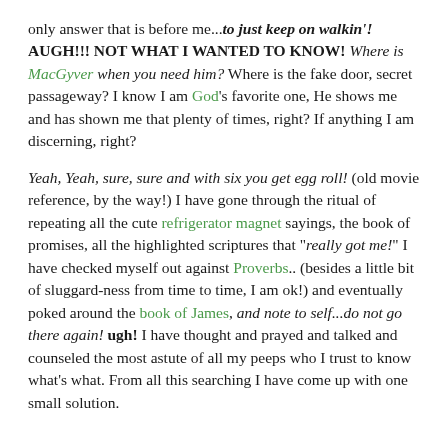only answer that is before me...to just keep on walkin'! AUGH!!! NOT WHAT I WANTED TO KNOW! Where is MacGyver when you need him? Where is the fake door, secret passageway? I know I am God's favorite one, He shows me and has shown me that plenty of times, right? If anything I am discerning, right?
Yeah, Yeah, sure, sure and with six you get egg roll! (old movie reference, by the way!) I have gone through the ritual of repeating all the cute refrigerator magnet sayings, the book of promises, all the highlighted scriptures that "really got me!" I have checked myself out against Proverbs.. (besides a little bit of sluggard-ness from time to time, I am ok!) and eventually poked around the book of James, and note to self...do not go there again! ugh! I have thought and prayed and talked and counseled the most astute of all my peeps who I trust to know what's what. From all this searching I have come up with one small solution.